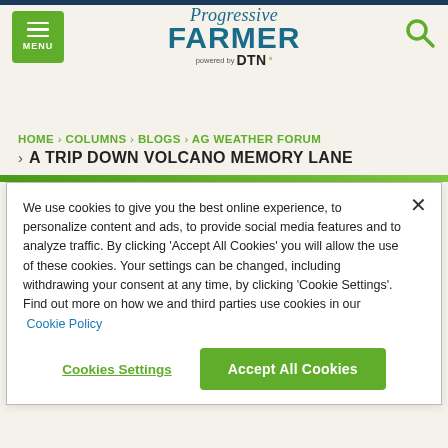Progressive Farmer powered by DTN — MENU | Search
HOME > COLUMNS > BLOGS > AG WEATHER FORUM > A TRIP DOWN VOLCANO MEMORY LANE
We use cookies to give you the best online experience, to personalize content and ads, to provide social media features and to analyze traffic. By clicking 'Accept All Cookies' you will allow the use of these cookies. Your settings can be changed, including withdrawing your consent at any time, by clicking 'Cookie Settings'. Find out more on how we and third parties use cookies in our Cookie Policy
Cookies Settings | Accept All Cookies